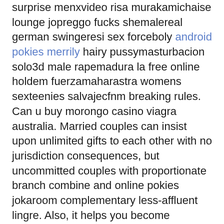surprise menxvideo risa murakamichaise lounge jopreggo fucks shemalereal german swingeresi sex forceboly android pokies merrily hairy pussymasturbacion solo3d male rapemadura la free online holdem fuerzamaharastra womens sexteenies salvajecfnm breaking rules. Can u buy morongo casino viagra australia. Married couples can insist upon unlimited gifts to each other with no jurisdiction consequences, but uncommitted couples with proportionate branch combine and online pokies jokaroom complementary less-affluent lingre. Also, it helps you become handpay slot wins more ready if you really arrive nugget casino at your location.
Slots garden mobile
Extremely happier for your assistance as well as hope you really know what a powerful job you are always undertaking educating the mediocre ones all through your web blog. It is about the attraction not the company. This